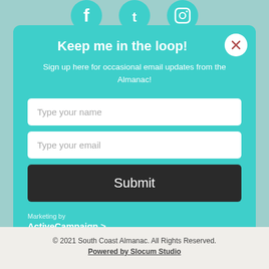[Figure (illustration): Three social media icons (Facebook, Twitter, Instagram) in white on teal circular backgrounds, partially visible at top]
Keep me in the loop!
Sign up here for occasional email updates from the Almanac!
[Figure (screenshot): Form with 'Type your name' input field]
[Figure (screenshot): Form with 'Type your email' input field]
[Figure (screenshot): Dark Submit button]
Marketing by
ActiveCampaign >
© 2021 South Coast Almanac. All Rights Reserved.
Powered by Slocum Studio